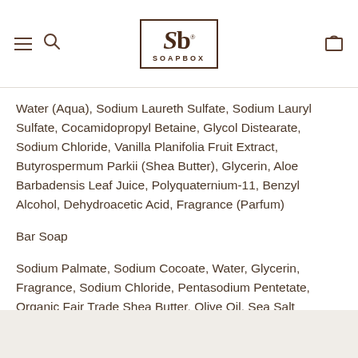Sb SOAPBOX logo with navigation icons
Water (Aqua), Sodium Laureth Sulfate, Sodium Lauryl Sulfate, Cocamidopropyl Betaine, Glycol Distearate, Sodium Chloride, Vanilla Planifolia Fruit Extract, Butyrospermum Parkii (Shea Butter), Glycerin, Aloe Barbadensis Leaf Juice, Polyquaternium-11, Benzyl Alcohol, Dehydroacetic Acid, Fragrance (Parfum)
Bar Soap
Sodium Palmate, Sodium Cocoate, Water, Glycerin, Fragrance, Sodium Chloride, Pentasodium Pentetate, Organic Fair Trade Shea Butter, Olive Oil, Sea Salt